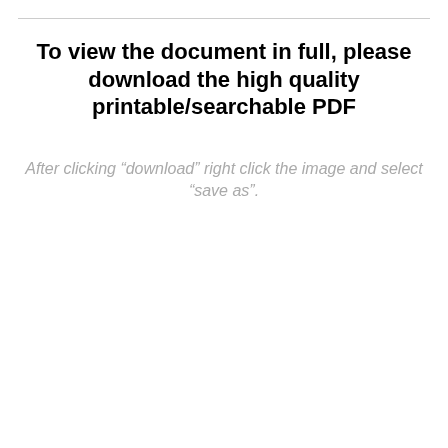To view the document in full, please download the high quality printable/searchable PDF
After clicking “download” right click the image and select “save as”.